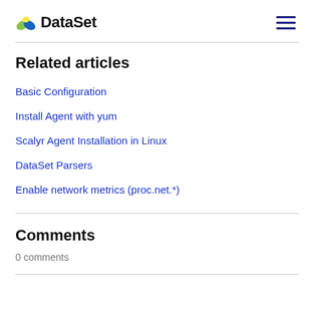DataSet
Related articles
Basic Configuration
Install Agent with yum
Scalyr Agent Installation in Linux
DataSet Parsers
Enable network metrics (proc.net.*)
Comments
0 comments